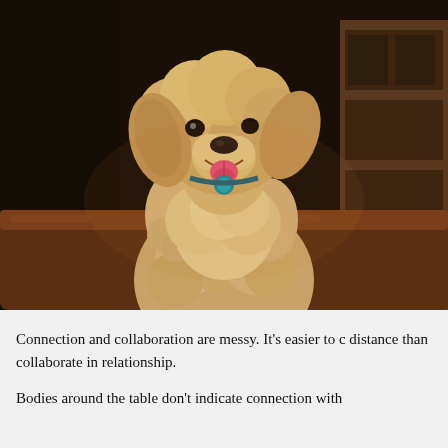[Figure (photo): A fluffy golden doodle dog with curly cream/golden fur resting its front paws over the back of a brown leather couch, head tilted and mouth open in a happy expression, wearing a teal collar tag. Dark indoor background with wooden furniture visible.]
Connection and collaboration are messy. It's easier to c distance than collaborate in relationship.
Bodies around the table don't indicate connection with